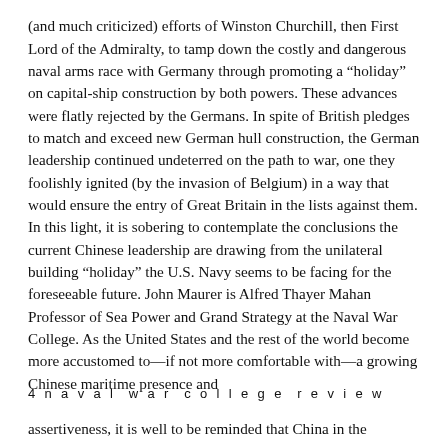(and much criticized) efforts of Winston Churchill, then First Lord of the Admiralty, to tamp down the costly and dangerous naval arms race with Germany through promoting a “holiday” on capital-ship construction by both powers. These advances were flatly rejected by the Germans. In spite of British pledges to match and exceed new German hull construction, the German leadership continued undeterred on the path to war, one they foolishly ignited (by the invasion of Belgium) in a way that would ensure the entry of Great Britain in the lists against them. In this light, it is sobering to contemplate the conclusions the current Chinese leadership are drawing from the unilateral building “holiday” the U.S. Navy seems to be facing for the foreseeable future. John Maurer is Alfred Thayer Mahan Professor of Sea Power and Grand Strategy at the Naval War College. As the United States and the rest of the world become more accustomed to—if not more comfortable with—a growing Chinese maritime presence and
4 n a v a l w a r c o l l e g e r e v i e w
assertiveness, it is well to be reminded that China in the